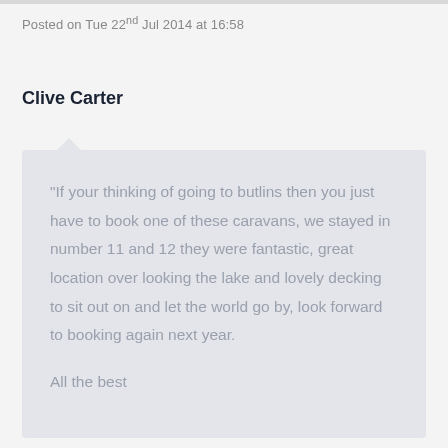Posted on Tue 22nd Jul 2014 at 16:58
Clive Carter
“If your thinking of going to butlins then you just have to book one of these caravans, we stayed in number 11 and 12 they were fantastic, great location over looking the lake and lovely decking to sit out on and let the world go by, look forward to booking again next year.

All the best